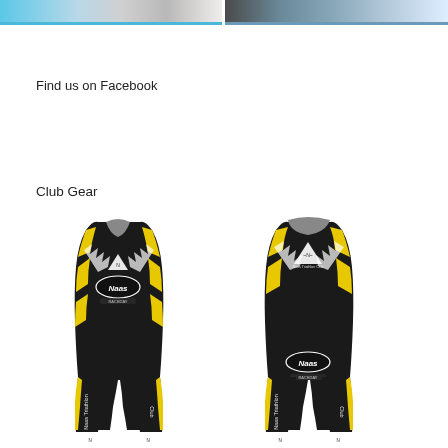[Figure (photo): Two cropped photo banners at the top of the page — left shows a triathlon suit in teal/blue tones, right shows a water/swimming scene in blue-grey tones]
Find us on Facebook
Club Gear
[Figure (illustration): Front and back views of the Naas Triathlon Club tri-suit. Black base with yellow and white zigzag/lightning bolt pattern. Front view on left shows 'Naas' oval logo and club emblem on chest, white text on legs. Back view on right shows 'Naas Triathlon Club' emblem on upper back, 'Naas' oval logo on lower back, zigzag yellow pattern on shoulders.]